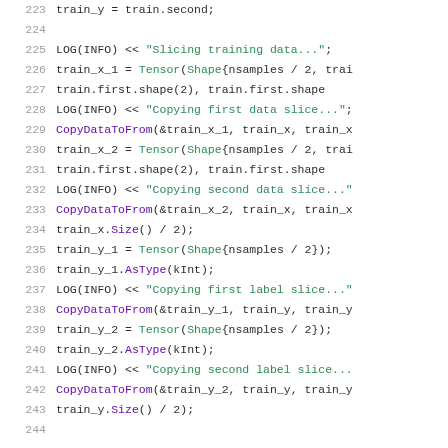Code listing lines 223-244, C++ source code for data slicing operations